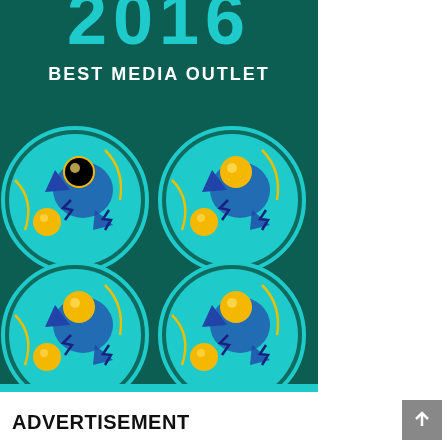[Figure (illustration): Award badge graphic on dark teal background. Top shows partial large teal year text (partially cropped), below reads 'BEST MEDIA OUTLET' in white bold caps. Four circular turquoise/cyan medallion badges arranged in 2x2 grid, each showing a stylized globe-like design with yellow spheres and dark blue triangular/lightning bolt shapes on a cyan background with a dark teal border ring.]
ADVERTISEMENT